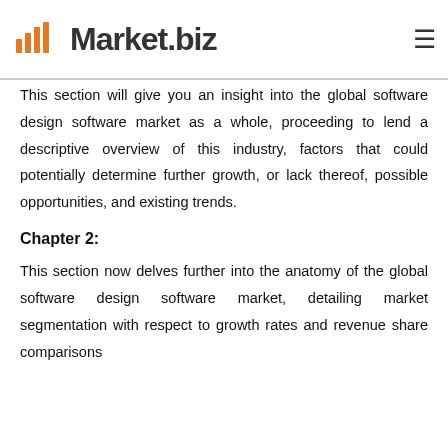Market.biz
This section will give you an insight into the global software design software market as a whole, proceeding to lend a descriptive overview of this industry, factors that could potentially determine further growth, or lack thereof, possible opportunities, and existing trends.
Chapter 2:
This section now delves further into the anatomy of the global software design software market, detailing market segmentation with respect to growth rates and revenue share comparisons